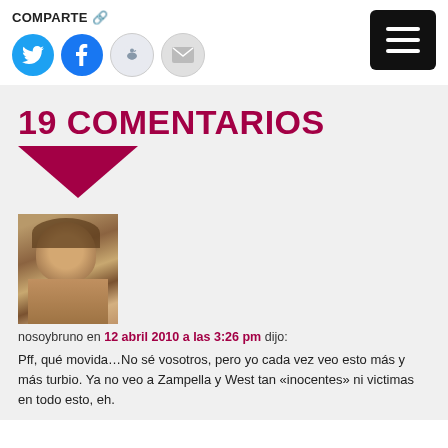COMPARTE 🔗
[Figure (screenshot): Social sharing buttons: Twitter (blue circle), Facebook (blue circle), Reddit (light circle), Email (gray circle), and a hamburger menu button (black rounded square with three white lines)]
19 COMENTARIOS
[Figure (illustration): Downward pointing triangle/arrow in dark red/crimson color]
[Figure (photo): Avatar photo of a person with curly hair, appearing to be a classical painting or old photograph]
nosoybruno en 12 abril 2010 a las 3:26 pm dijo:
Pff, qué movida…No sé vosotros, pero yo cada vez veo esto más y más turbio. Ya no veo a Zampella y West tan «inocentes» ni victimas en todo esto, eh.